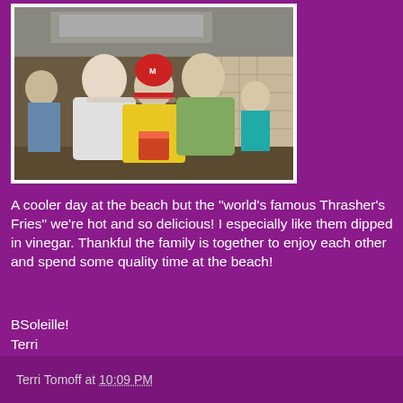[Figure (photo): Family photo at Thrasher's Fries restaurant — three people posing together: a teenage girl, a boy in a red Mario hat and yellow jacket holding a bucket of fries, and an older woman in a green jacket. Background shows a busy restaurant/food stand interior.]
A cooler day at the beach but the "world's famous Thrasher's Fries" we're hot and so delicious! I especially like them dipped in vinegar. Thankful the family is together to enjoy each other and spend some quality time at the beach!
BSoleille!
Terri
Terri Tomoff at 10:09 PM